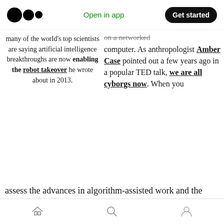Open in app  |  Get started
many of the world's top scientists are saying artificial intelligence breakthroughs are now enabling the robot takeover he wrote about in 2013.
on a networked computer. As anthropologist Amber Case pointed out a few years ago in a popular TED talk, we are all cyborgs now. When you assess the advances in algorithm-assisted work and the rapid advance of the robot takeover of driving, accounting and many other occupations you can clearly see that unless something changes we are in precarious times for human employment and the world's economies
home  search  profile